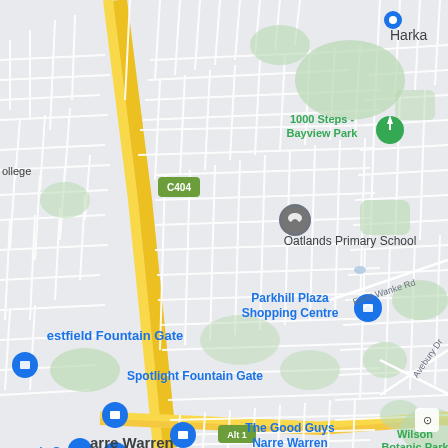[Figure (map): Google Maps screenshot showing Narre Warren / Fountain Gate area in Victoria, Australia. Landmarks visible: 1000 Steps - Bayview Park, Oatlands Primary School, Parkhill Plaza Shopping Centre, Westfield Fountain Gate, Spotlight Fountain Gate, The Good Guys Narre Warren, OZ Tenpin Narre Warren, Wilson Botanic Park (partial). Roads visible: C404, Parkhill Dr, Avebury Dr, Ernst Wanke Rd, Alt 1. Area labels: Harka (partial, top right), College (partial, left), ain Gate (partial), Narre Warren (partial, bottom left).]